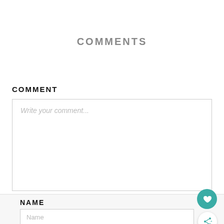COMMENTS
COMMENT
Write your comment...
NAME
Name